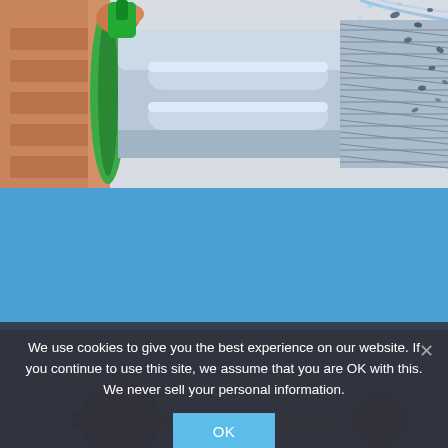[Figure (engineering-diagram): Cross-sectional cutaway illustration of a mechanical assembly (bearing/coupling device), showing internal components including a green-colored seal/gasket, cylindrical rollers or pistons in silver/gray, copper/bronze housing on left, threaded ring on right, and particles/debris spraying from the right side.]
[Figure (photo): Blue background section of a webpage, partially visible, with what appears to be mechanical components (gears, shaft) in the lower portion overlaid by a dark cookie consent banner.]
We use cookies to give you the best experience on our website. If you continue to use this site, we assume that you are OK with this. We never sell your personal information.